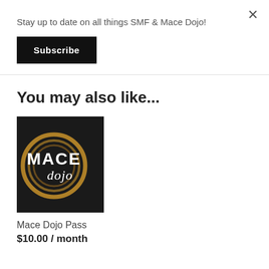Stay up to date on all things SMF & Mace Dojo!
Subscribe
You may also like...
[Figure (logo): Mace Dojo logo: dark background with gold circular ring and white bold text 'MACE' with italic 'dojo' below]
Mace Dojo Pass
$10.00 / month